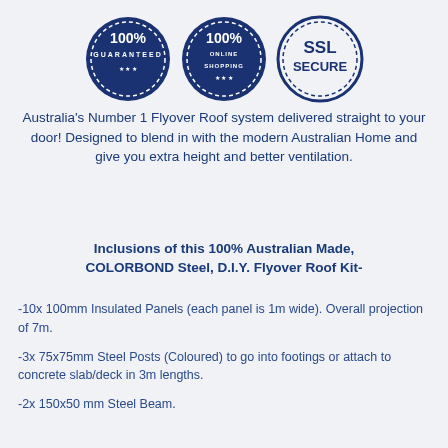[Figure (logo): Three circular badge logos: '100% Guaranteed', '100% Online Shopping', and 'SSL Secure' seals in dark navy blue]
Australia's Number 1 Flyover Roof system delivered straight to your door! Designed to blend in with the modern Australian Home and give you extra height and better ventilation.
Inclusions of this 100% Australian Made, COLORBOND Steel, D.I.Y. Flyover Roof Kit-
-10x 100mm Insulated Panels (each panel is 1m wide). Overall projection of 7m.
-3x 75x75mm Steel Posts (Coloured) to go into footings or attach to concrete slab/deck in 3m lengths.
-2x 150x50 mm Steel Beam.